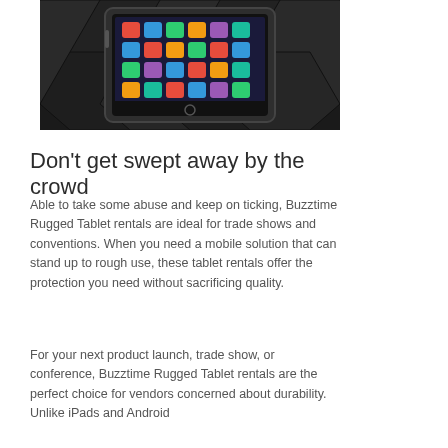[Figure (photo): A rugged Android tablet displayed against a dark hexagonal patterned background]
Don't get swept away by the crowd
Able to take some abuse and keep on ticking, Buzztime Rugged Tablet rentals are ideal for trade shows and conventions. When you need a mobile solution that can stand up to rough use, these tablet rentals offer the protection you need without sacrificing quality.
For your next product launch, trade show, or conference, Buzztime Rugged Tablet rentals are the perfect choice for vendors concerned about durability. Unlike iPads and Android